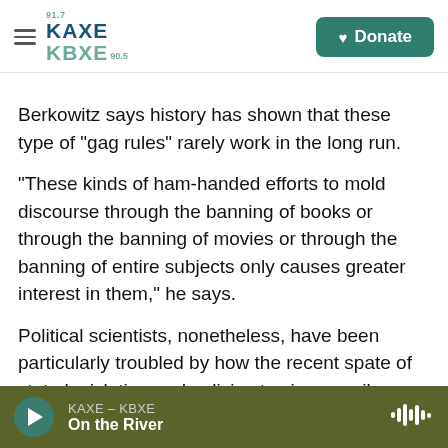KAXE 91.7 KBXE 90.5 | Donate
Berkowitz says history has shown that these type of "gag rules" rarely work in the long run.
"These kinds of ham-handed efforts to mold discourse through the banning of books or through the banning of movies or through the banning of entire subjects only causes greater interest in them," he says.
Political scientists, nonetheless, have been particularly troubled by how the recent spate of state legislation and policies to circumscribe discussion of race in schools has happened amid a
KAXE – KBXE | On the River